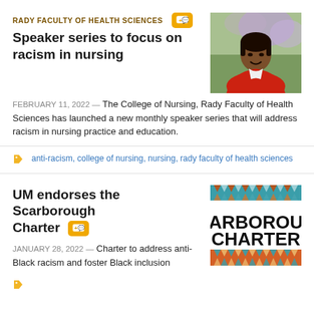RADY FACULTY OF HEALTH SCIENCES
Speaker series to focus on racism in nursing
[Figure (photo): Portrait photo of a woman in a red jacket smiling, outdoors with purple flowers in background]
FEBRUARY 11, 2022 — The College of Nursing, Rady Faculty of Health Sciences has launched a new monthly speaker series that will address racism in nursing practice and education.
anti-racism, college of nursing, nursing, rady faculty of health sciences
UM endorses the Scarborough Charter
[Figure (illustration): Scarborough Charter logo with decorative indigenous pattern borders in teal/red/orange and bold black text 'ARBOROU CHARTER']
JANUARY 28, 2022 — Charter to address anti-Black racism and foster Black inclusion